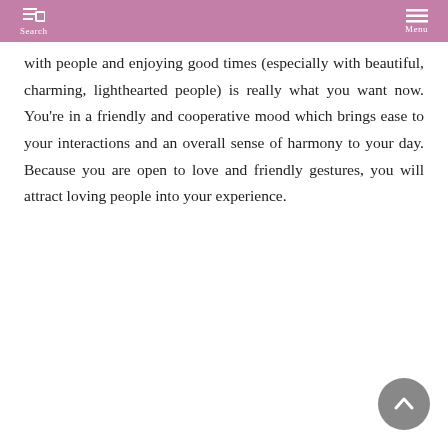Search  Menu
with people and enjoying good times (especially with beautiful, charming, lighthearted people) is really what you want now. You’re in a friendly and cooperative mood which brings ease to your interactions and an overall sense of harmony to your day. Because you are open to love and friendly gestures, you will attract loving people into your experience.